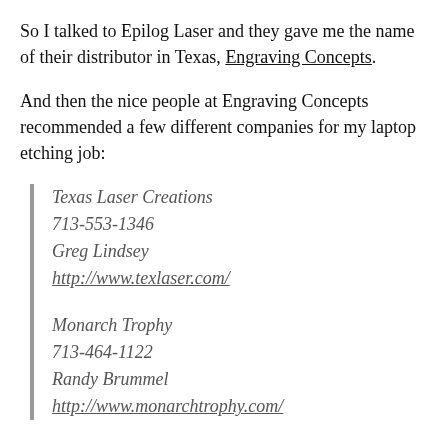So I talked to Epilog Laser and they gave me the name of their distributor in Texas, Engraving Concepts.
And then the nice people at Engraving Concepts recommended a few different companies for my laptop etching job:
Texas Laser Creations
713-553-1346
Greg Lindsey
http://www.texlaser.com/
Monarch Trophy
713-464-1122
Randy Brummel
http://www.monarchtrophy.com/